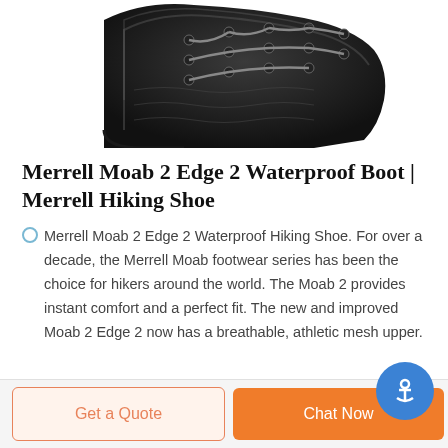[Figure (photo): Close-up photo of a black Merrell hiking boot showing lacing system and upper mesh material against a white background]
Merrell Moab 2 Edge 2 Waterproof Boot | Merrell Hiking Shoe
Merrell Moab 2 Edge 2 Waterproof Hiking Shoe. For over a decade, the Merrell Moab footwear series has been the choice for hikers around the world. The Moab 2 provides instant comfort and a perfect fit. The new and improved Moab 2 Edge 2 now has a breathable, athletic mesh upper.